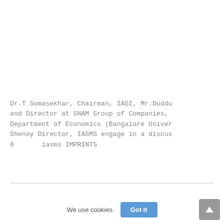Dr.T Somasekhar, Chairman, IAGI, Mr.Duddu and Director at SNAM Group of Companies, Department of Economics (Bangalore Univer Shenoy Director, IASMS engage in a discus 6       iasms IMPRINTS
We use cookies.